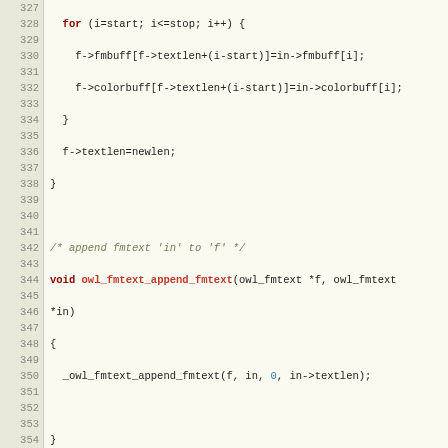[Figure (screenshot): Source code listing in C showing functions owl_fmtext_append_fmtext and owl_fmtext_append_spaces, with line numbers 327-355, dark background line-number gutter and light code area, syntax highlighted in red/blue/green/gray]